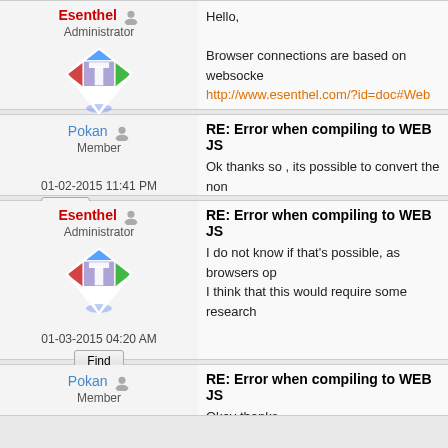Esenthel - Administrator
Hello,
Browser connections are based on websocket
http://www.esenthel.com/?id=doc#Web
01-02-2015 08:11 AM
Pokan - Member
RE: Error when compiling to WEB JS
Ok thanks so , its possible to convert the non
01-02-2015 11:41 PM
Esenthel - Administrator
RE: Error when compiling to WEB JS
I do not know if that's possible, as browsers op
I think that this would require some research
01-03-2015 04:20 AM
Pokan - Member
RE: Error when compiling to WEB JS
Okey thanks